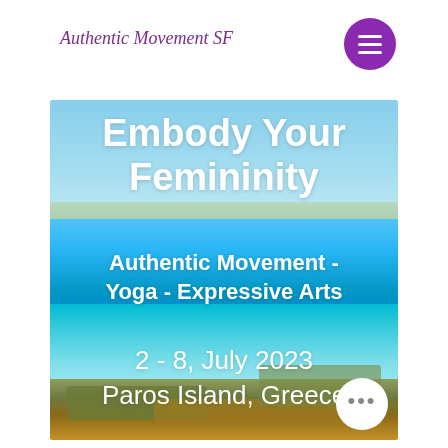Authentic Movement SF
[Figure (photo): Aerial view of a Greek island coastline with turquoise and blue Mediterranean sea, rocky shore with green vegetation, and distant land under a blue sky. Overlaid with white text.]
Embody Your Femininity
Authentic Movement - Yoga - Expressive Arts
2 - 8, July 2023
Paros Island, Greece